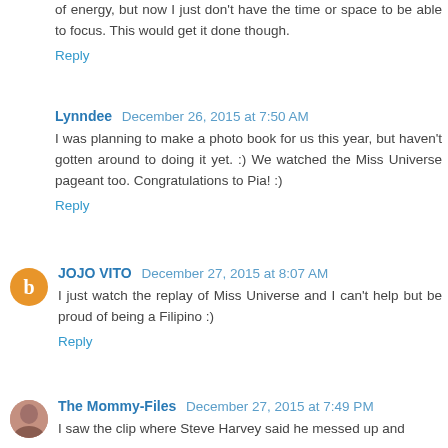of energy, but now I just don't have the time or space to be able to focus. This would get it done though.
Reply
Lynndee  December 26, 2015 at 7:50 AM
I was planning to make a photo book for us this year, but haven't gotten around to doing it yet. :) We watched the Miss Universe pageant too. Congratulations to Pia! :)
Reply
JOJO VITO  December 27, 2015 at 8:07 AM
I just watch the replay of Miss Universe and I can't help but be proud of being a Filipino :)
Reply
The Mommy-Files  December 27, 2015 at 7:49 PM
I saw the clip where Steve Harvey said he messed up and